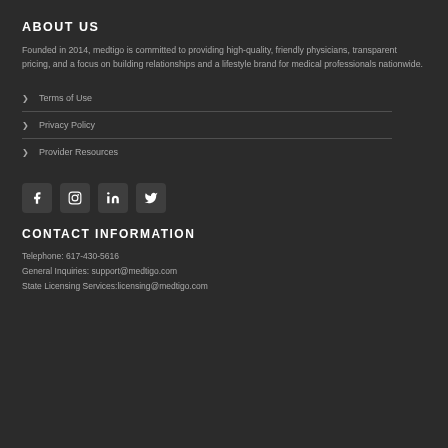ABOUT US
Founded in 2014, medtigo is committed to providing high-quality, friendly physicians, transparent pricing, and a focus on building relationships and a lifestyle brand for medical professionals nationwide.
Terms of Use
Privacy Policy
Provider Resources
[Figure (illustration): Social media icons row: Facebook, Instagram, LinkedIn, Twitter]
CONTACT INFORMATION
Telephone: 617-430-5616
General Inquiries: support@medtigo.com
State Licensing Services:licensing@medtigo.com